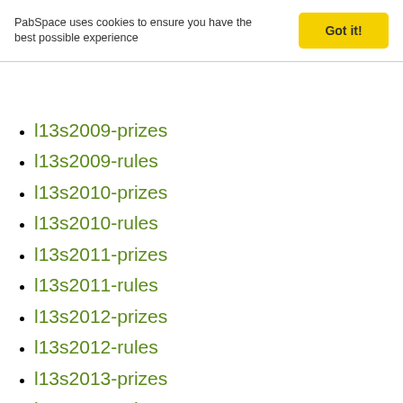PabSpace uses cookies to ensure you have the best possible experience
Got it!
l13s2009-prizes
l13s2009-rules
l13s2010-prizes
l13s2010-rules
l13s2011-prizes
l13s2011-rules
l13s2012-prizes
l13s2012-rules
l13s2013-prizes
l13s2013-rules
l13s2014-prizes
l13s2014-rules
l13s2015-prizes
l13s2015-rules
l13s2016-prizes